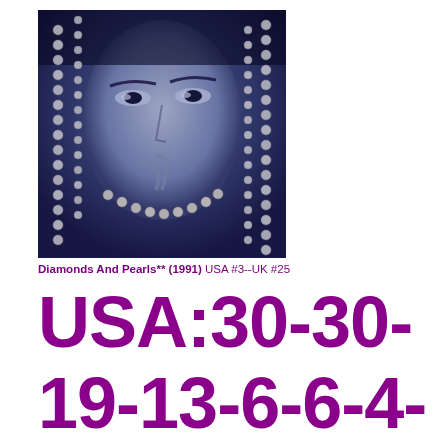[Figure (photo): Black and white / blue-tinted close-up photo of a person's face partially obscured by strings of pearls/beads, dramatic lighting, mysterious pose]
Diamonds And Pearls** (1991) USA #3--UK #25
USA:30-30-19-13-6-6-4-4-3-4-5-7-9-